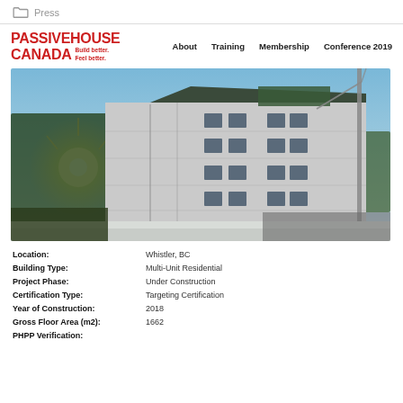Press
[Figure (logo): Passive House Canada logo with tagline Build better. Feel better. and navigation links: About, Training, Membership, Conference 2019]
[Figure (photo): Construction photo of a multi-story building under construction wrapped in white insulation/vapor barrier material, with scaffolding and a crane visible, blue sky background, trees in background, winter/snow setting, sun flare on left side]
| Location: | Whistler, BC |
| Building Type: | Multi-Unit Residential |
| Project Phase: | Under Construction |
| Certification Type: | Targeting Certification |
| Year of Construction: | 2018 |
| Gross Floor Area (m2): | 1662 |
| PHPP Verification: |  |